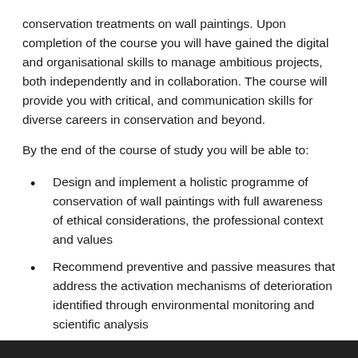conservation treatments on wall paintings. Upon completion of the course you will have gained the digital and organisational skills to manage ambitious projects, both independently and in collaboration. The course will provide you with critical, and communication skills for diverse careers in conservation and beyond.
By the end of the course of study you will be able to:
Design and implement a holistic programme of conservation of wall paintings with full awareness of ethical considerations, the professional context and values
Recommend preventive and passive measures that address the activation mechanisms of deterioration identified through environmental monitoring and scientific analysis
Examine and conserve the principal and add...